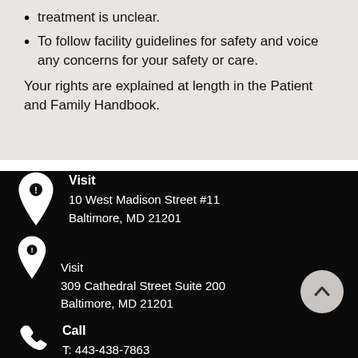treatment is unclear.
To follow facility guidelines for safety and voice any concerns for your safety or care.
Your rights are explained at length in the Patient and Family Handbook.
Visit
10 West Madison Street #11
Baltimore, MD 21201
Visit
309 Cathedral Street Suite 200
Baltimore, MD 21201
Call
T: 443-438-7863
F: 443-957-9485